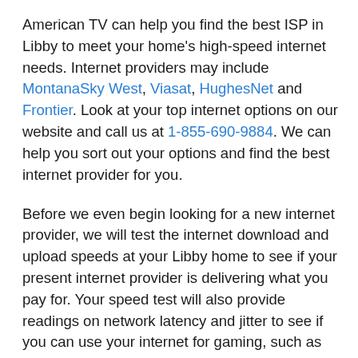American TV can help you find the best ISP in Libby to meet your home's high-speed internet needs. Internet providers may include MontanaSky West, Viasat, HughesNet and Frontier. Look at your top internet options on our website and call us at 1-855-690-9884. We can help you sort out your options and find the best internet provider for you.
Before we even begin looking for a new internet provider, we will test the internet download and upload speeds at your Libby home to see if your present internet provider is delivering what you pay for. Your speed test will also provide readings on network latency and jitter to see if you can use your internet for gaming, such as multi-player action games with racing or shooting. We'll also look at your address to pinpoint all the ISPs that can provide service. Your broadband internet